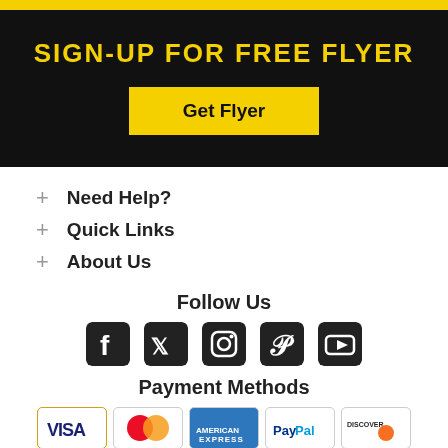SIGN-UP FOR FREE FLYER
Get Flyer
+ Need Help?
+ Quick Links
+ About Us
Follow Us
[Figure (illustration): Social media icons: Facebook, Twitter, Instagram, Pinterest, YouTube]
Payment Methods
[Figure (illustration): Payment method logos: VISA, MasterCard, American Express, PayPal, Discover]